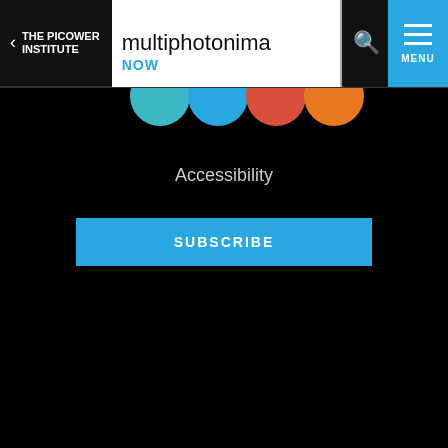THE PICOWER INSTITUTE | multiphotonima NOW | MENU
Accessibility
SUBSCRIBE